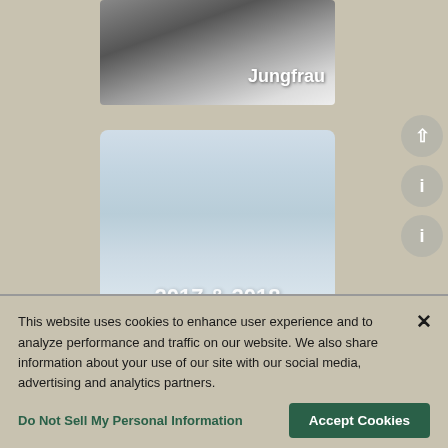[Figure (photo): Black and white mountain photo with text label 'Jungfrau' in white bold text at bottom right]
[Figure (photo): Light blue-grey icy/snowy mountain photo with text label '2017 & 2018' in white bold text at bottom center]
This website uses cookies to enhance user experience and to analyze performance and traffic on our website. We also share information about your use of our site with our social media, advertising and analytics partners.
Do Not Sell My Personal Information
Accept Cookies